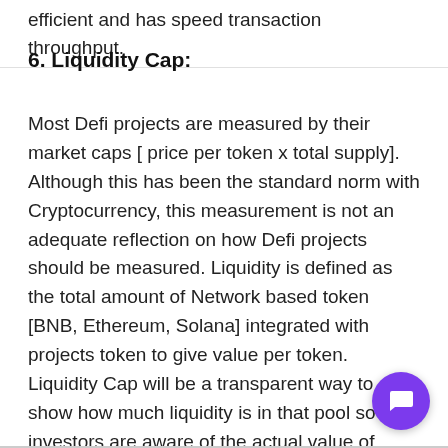efficient and has speed transaction throughput.
6. Liquidity Cap:
Most Defi projects are measured by their market caps [ price per token x total supply]. Although this has been the standard norm with Cryptocurrency, this measurement is not an adequate reflection on how Defi projects should be measured. Liquidity is defined as the total amount of Network based token [BNB, Ethereum, Solana] integrated with projects token to give value per token. Liquidity Cap will be a transparent way to show how much liquidity is in that pool so investors are aware of the actual value of tokens.